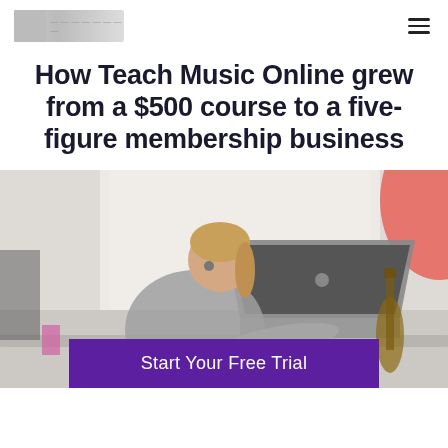[logo] [hamburger menu]
How Teach Music Online grew from a $500 course to a five-figure membership business
[Figure (photo): Woman with blonde hair in a ponytail, wearing a grey long-sleeve top, leaning over a desk working on a MacBook laptop. A guitar leans against the wall in the background right. A coral/pink decorative shape is visible at upper right. Bright, airy room with natural light from windows.]
Start Your Free Trial